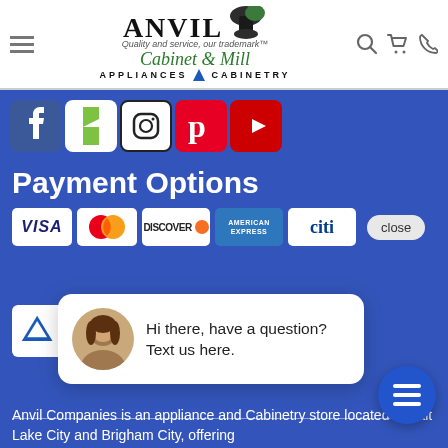[Figure (logo): Anvil Cabinet & Mill Appliances Cabinetry logo with navigation bar including hamburger menu, search, cart, and phone icons]
[Figure (infographic): Social media icons row: Facebook, Houzz, Instagram, Pinterest, YouTube]
Payment Options
[Figure (infographic): Payment card logos: VISA, MasterCard, Discover, American Express, Citi. Close button visible on right.]
[Figure (infographic): Anvil Appliances logo badge (white box with logo)]
[Figure (photo): Chat popup with woman avatar: Hi there, have a question? Text us here.]
Hi there, have a question? Text us here.
Anvil Companies is an appliance and Cabinetry store located in Salt Lake City and Brigham City, offering